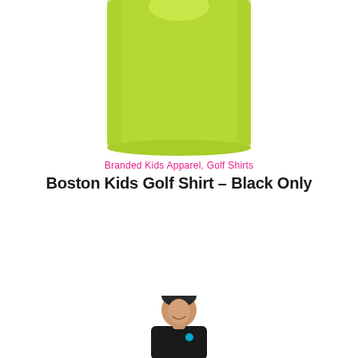[Figure (photo): Lime green kids golf shirt, shown from the front, cropped at top — sleeveless/short-sleeve style]
Branded Kids Apparel, Golf Shirts
Boston Kids Golf Shirt – Black Only
[Figure (other): Pink rounded rectangle button reading 'Select options']
[Figure (photo): Man wearing a dark/black golf shirt, partially visible from chest up, smiling]